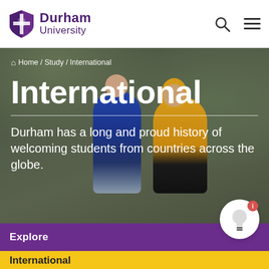Durham University
Home / Study / International
International
Durham has a long and proud history of welcoming students from countries across the globe.
Explore
International